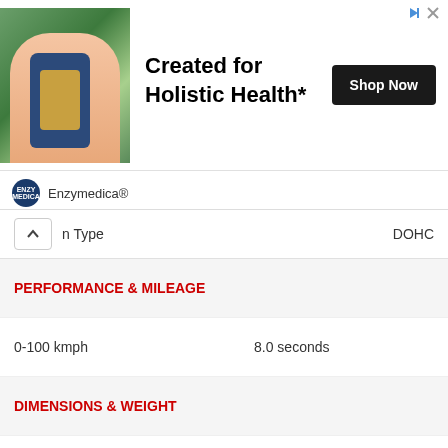[Figure (illustration): Advertisement banner for Enzymedica showing a hand holding a supplement bottle in a green plant background, with text 'Created for Holistic Health*' and a 'Shop Now' button]
| Specification | Value |
| --- | --- |
| n Type | DOHC |
| PERFORMANCE & MILEAGE |  |
| 0-100 kmph | 8.0 seconds |
| DIMENSIONS & WEIGHT |  |
| Overall Length | 4747 mm |
| Overall Width | 2175 mm |
| Overall Height | 1664 mm |
| Wheelbase | 2874 mm |
| Ground Clearance | 213 mm |
| Kerb Weight | 1951 kg |
| Gross Vehicle Weight | 2540 kg |
| Turning Radius | 11.95 metres |
| Front Headroom | 1007 mm |